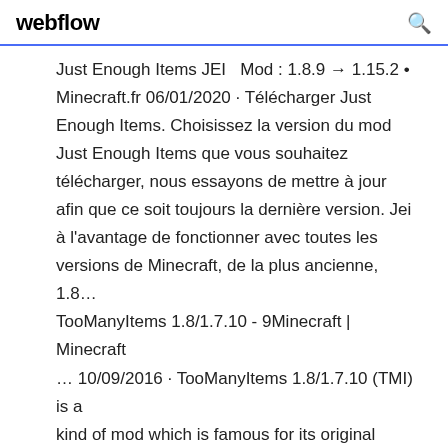webflow
Just Enough Items JEI  Mod : 1.8.9 → 1.15.2 • Minecraft.fr 06/01/2020 · Télécharger Just Enough Items. Choisissez la version du mod Just Enough Items que vous souhaitez télécharger, nous essayons de mettre à jour afin que ce soit toujours la dernière version. Jei à l'avantage de fonctionner avec toutes les versions de Minecraft, de la plus ancienne, 1.8… TooManyItems 1.8/1.7.10 - 9Minecraft | Minecraft … 10/09/2016 · TooManyItems 1.8/1.7.10 (TMI) is a kind of mod which is famous for its original versions of Minecraft. It helps plays find blocks rapidly through a useful and noticeble GUI. Additionally, it saves players' inventory to create block collections. This a mod almost all